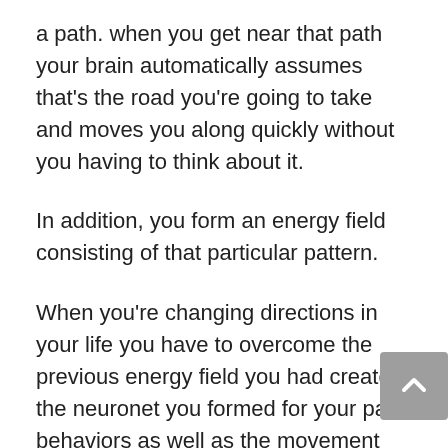a path. when you get near that path your brain automatically assumes that's the road you're going to take and moves you along quickly without you having to think about it.
In addition, you form an energy field consisting of that particular pattern.
When you're changing directions in your life you have to overcome the previous energy field you had created, the neuronet you formed for your past behaviors as well as the movement you had already established.
For most people, one of the patterns formed is lack of success. They've attempted certain goals and have fallen short. They create both an energy of not being able to accomplish what they set out to do